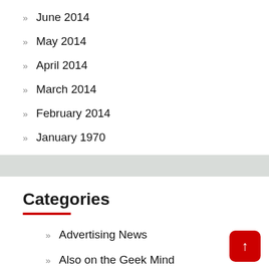June 2014
May 2014
April 2014
March 2014
February 2014
January 1970
Categories
Advertising News
Also on the Geek Mind
Android